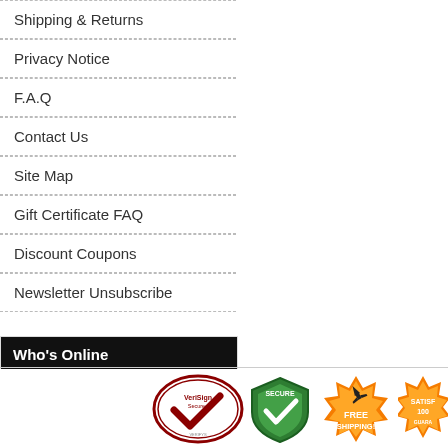Shipping & Returns
Privacy Notice
F.A.Q
Contact Us
Site Map
Gift Certificate FAQ
Discount Coupons
Newsletter Unsubscribe
Who's Online
There currently are 12 guests and 1 member online.
[Figure (logo): VeriSign Secured badge, Secure shield badge, Free Shipping badge, Satisfaction guarantee badge (partially visible)]